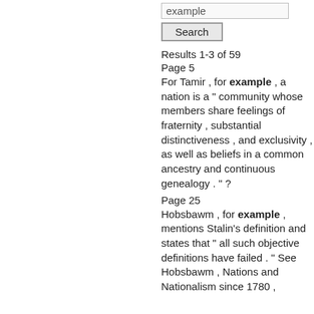example
Search
Results 1-3 of 59
Page 5
For Tamir , for example , a nation is a " community whose members share feelings of fraternity , substantial distinctiveness , and exclusivity , as well as beliefs in a common ancestry and continuous genealogy . " ?
Page 25
Hobsbawm , for example , mentions Stalin's definition and states that " all such objective definitions have failed . " See Hobsbawm , Nations and Nationalism since 1780 ,